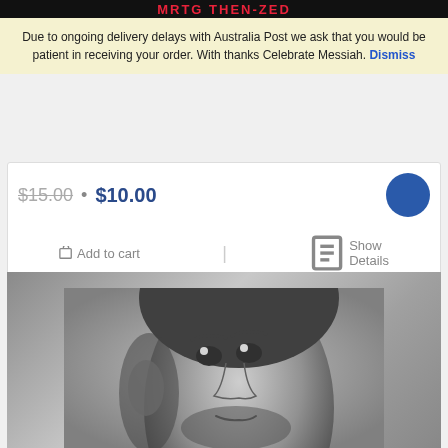[Figure (screenshot): Black banner bar at top with red stylized heading text (partially visible)]
Due to ongoing delivery delays with Australia Post we ask that you would be patient in receiving your order. With thanks Celebrate Messiah. Dismiss
$15.00 • $10.00
Add to cart | Show Details
[Figure (photo): Black and white photo of a man (Joshua Aaron album cover) looking upward, with 'JOSHUA AARON' text in spaced letters across the top]